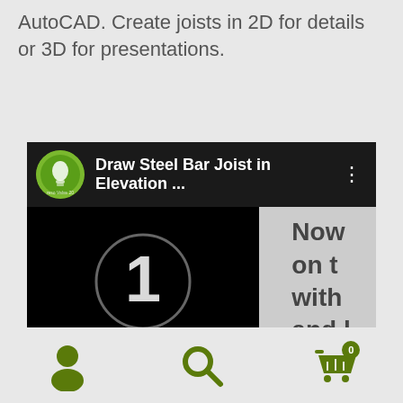AutoCAD. Create joists in 2D for details or 3D for presentations.
[Figure (screenshot): Video thumbnail showing 'Draw Steel Bar Joist in Elevation ...' with a channel logo, a countdown timer showing '1', a blue progress bar, and a CAD software interface at the bottom. A sidebar shows partial text 'Now on with and'.]
[Figure (infographic): Bottom navigation bar with three icons: user/person icon (olive green), search/magnifying glass icon (olive green), and shopping cart icon with badge showing '0' (olive green)]